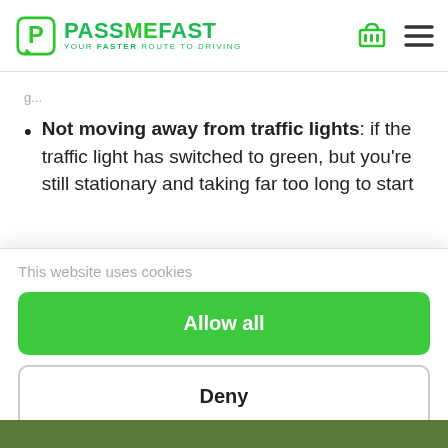[Figure (logo): PassMeFast logo — green P icon with tagline YOUR FASTER ROUTE TO DRIVING]
Not moving away from traffic lights: if the traffic light has switched to green, but you're still stationary and taking far too long to start
This website uses cookies
Allow all
Deny
Powered by Cookiebot by Usercentrics